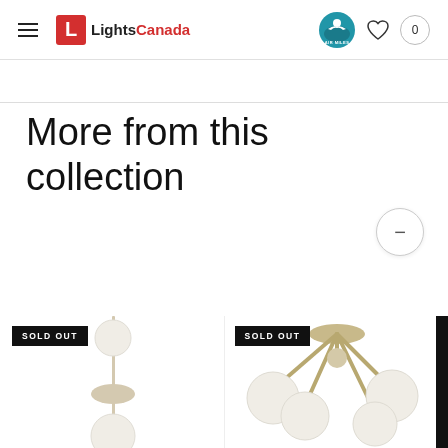LightsCanada — navigation header with logo, Air Miles badge, heart icon, and cart (0)
More from this collection
[Figure (photo): Wall sconce light fixture with two white globe bulbs on a slender metal stem, white/silver finish, with SOLD OUT badge]
[Figure (photo): Ceiling semi-flush mount light with four white globe shades on silver/brass arms radiating from central canopy, with SOLD OUT badge]